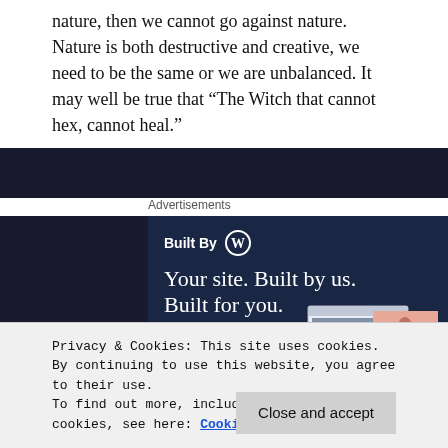nature, then we cannot go against nature. Nature is both destructive and creative, we need to be the same or we are unbalanced. It may well be true that “The Witch that cannot hex, cannot heal.”
Advertisements
[Figure (screenshot): WordPress advertisement banner: 'Built By WordPress logo — Your site. Built by us. Built for you. — Get a quote now button — mockup of a website with person photo']
Privacy & Cookies: This site uses cookies. By continuing to use this website, you agree to their use.
To find out more, including how to control cookies, see here: Cookie Policy
Close and accept